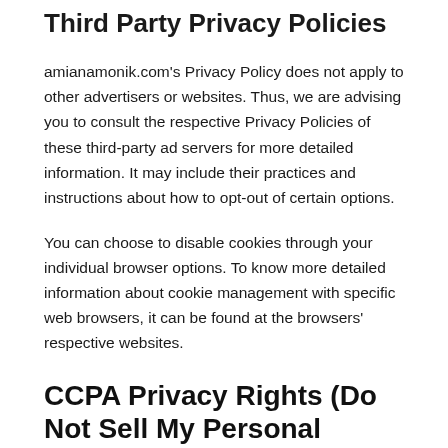Third Party Privacy Policies
amianamonik.com's Privacy Policy does not apply to other advertisers or websites. Thus, we are advising you to consult the respective Privacy Policies of these third-party ad servers for more detailed information. It may include their practices and instructions about how to opt-out of certain options.
You can choose to disable cookies through your individual browser options. To know more detailed information about cookie management with specific web browsers, it can be found at the browsers' respective websites.
CCPA Privacy Rights (Do Not Sell My Personal Information)
Under the CCPA, among other rights, California consumers